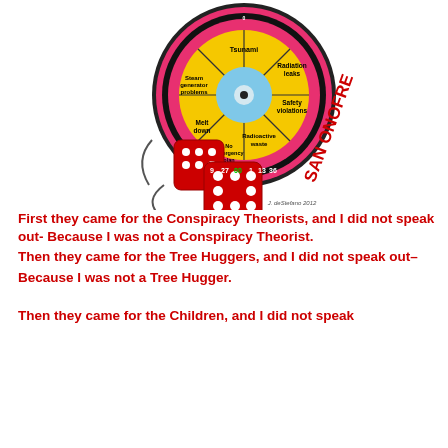[Figure (illustration): A roulette wheel illustration labeled 'SAN ONOFRE' with wedges showing nuclear hazards: Tsunami, Radiation leaks, Safety violations, Radioactive waste, No emergency plan, Melt down, Steam generator problems. Two red dice are shown in front of the wheel. Artist signature: J. deStefano 2012.]
First they came for the Conspiracy Theorists, and I did not speak out- Because I was not a Conspiracy Theorist.
Then they came for the Tree Huggers, and I did not speak out–
Because I was not a Tree Hugger.

Then they came for the Children, and I did not speak